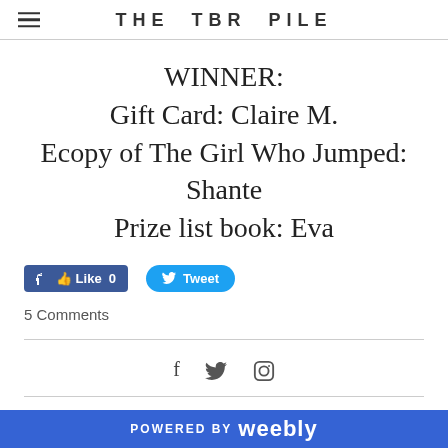THE TBR PILE
WINNER:
Gift Card: Claire M.
Ecopy of The Girl Who Jumped: Shante
Prize list book: Eva
[Figure (other): Facebook Like button showing 0 likes and Twitter Tweet button]
5 Comments
[Figure (other): Social media icons: Facebook, Twitter, Instagram]
GIVEAWAY NEWSLETTER:
POWERED BY weebly